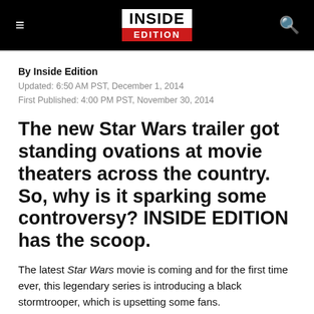INSIDE EDITION
By Inside Edition
Updated: 6:50 AM PST, December 1, 2014
First Published: 4:00 PM PST, November 30, 2014
The new Star Wars trailer got standing ovations at movie theaters across the country. So, why is it sparking some controversy? INSIDE EDITION has the scoop.
The latest Star Wars movie is coming and for the first time ever, this legendary series is introducing a black stormtrooper, which is upsetting some fans.